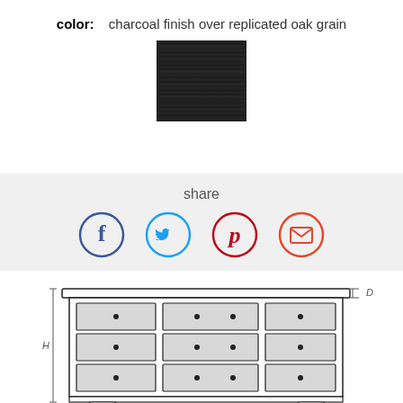color:  charcoal finish over replicated oak grain
[Figure (other): Color swatch showing charcoal finish over replicated oak grain — dark textured rectangle with border]
share
[Figure (infographic): Social share icons: Facebook (blue circle with f), Twitter (light blue circle with bird), Pinterest (red circle with P), Email (red-orange circle with envelope)]
[Figure (engineering-diagram): Line drawing of a dresser with 9 drawers (3 columns, 3 rows), showing height (H) and depth (D) dimension markers. Bottom of dresser shows decorative feet partially visible.]